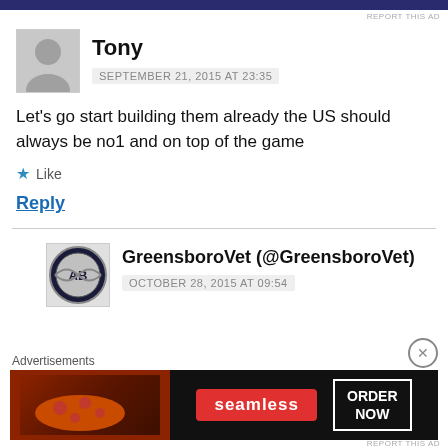[Figure (other): Dark blue advertisement banner at top of page]
REPORT THIS AD
Tony
SEPTEMBER 21, 2015 AT 23:35
Let's go start building them already the US should always be no1 and on top of the game
★ Like
Reply
GreensboroVet (@GreensboroVet)
OCTOBER 28, 2015 AT 09:54
Advertisements
[Figure (photo): Seamless pizza advertisement banner with 'ORDER NOW' button]